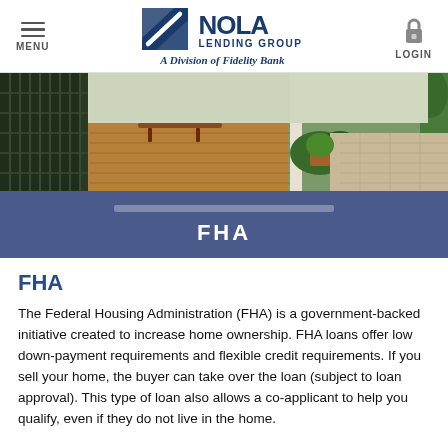MENU | NOLA LENDING GROUP A Division of Fidelity Bank | LOGIN
[Figure (photo): Hero image of a home porch with rocking chair, garden, and outdoor walkway]
FHA
FHA
The Federal Housing Administration (FHA) is a government-backed initiative created to increase home ownership. FHA loans offer low down-payment requirements and flexible credit requirements. If you sell your home, the buyer can take over the loan (subject to loan approval). This type of loan also allows a co-applicant to help you qualify, even if they do not live in the home.